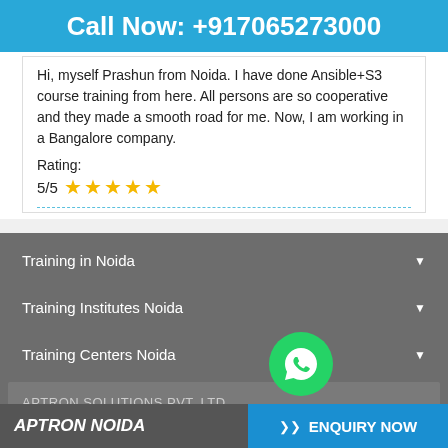Call Now: +917065273000
Hi, myself Prashun from Noida. I have done Ansible+S3 course training from here. All persons are so cooperative and they made a smooth road for me. Now, I am working in a Bangalore company.
Rating:
5/5 ★★★★★
Training in Noida
Training Institutes Noida
Training Centers Noida
APTRON SOLUTIONS PVT. LTD.
APTRON NOIDA   ENQUIRY NOW